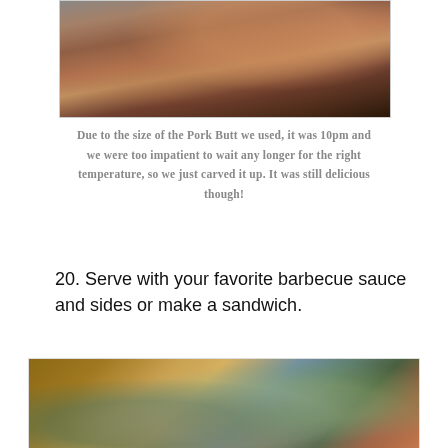[Figure (photo): Carved pork butt pieces in a dark roasting pan on a stovetop]
Due to the size of the Pork Butt we used, it was 10pm and we were too impatient to wait any longer for the right temperature, so we just carved it up. It was still delicious though!
20. Serve with your favorite barbecue sauce and sides or make a sandwich.
[Figure (photo): A plate of pork with barbecue sauce, sautéed greens, and coleslaw on a wooden table]